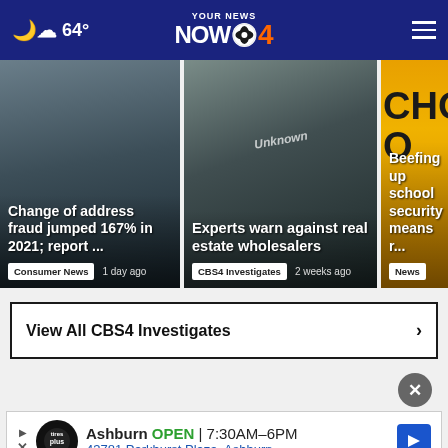64° | YOUR NEWS NOW CBS 4
[Figure (photo): News card 1: Change of address fraud jumped 167% in 2021; report ... — Consumer News, 1 day ago]
[Figure (photo): News card 2: Experts warn against real estate wholesalers — CBS4 Investigates, 2 weeks ago]
[Figure (photo): News card 3: Beefing up school security means more resourc... — News]
View All CBS4 Investigates ›
[Figure (infographic): Close button (×) and advertisement banner: Ashburn OPEN | 7:30AM–6PM, 43781 Parkhurst Plaza, Ashburn — Tires Plus auto service]